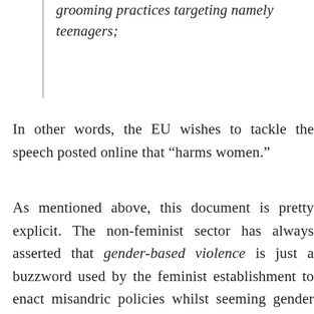grooming practices targeting namely teenagers;
In other words, the EU wishes to tackle the speech posted online that “harms women.”
As mentioned above, this document is pretty explicit. The non-feminist sector has always asserted that gender-based violence is just a buzzword used by the feminist establishment to enact misandric policies whilst seeming gender neutral to the general public. Article I clears that up for everyone to see and understand[11]: